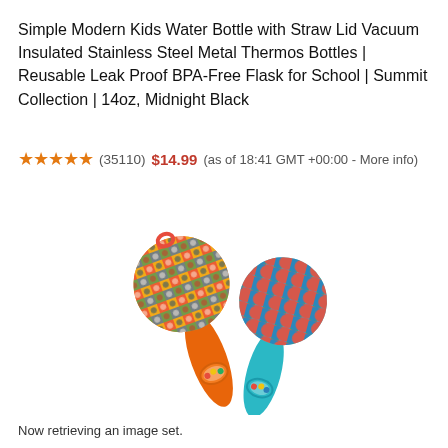Simple Modern Kids Water Bottle with Straw Lid Vacuum Insulated Stainless Steel Metal Thermos Bottles | Reusable Leak Proof BPA-Free Flask for School | Summit Collection | 14oz, Midnight Black
★★★★★ (35110) $14.99 (as of 18:41 GMT +00:00 - More info)
[Figure (photo): Two colorful baby maracas/rattles — one with an orange handle and multicolored geometric pattern ball top, one with a blue handle and multicolored scale pattern ball top, both with transparent windows showing small colorful beads inside.]
Now retrieving an image set.